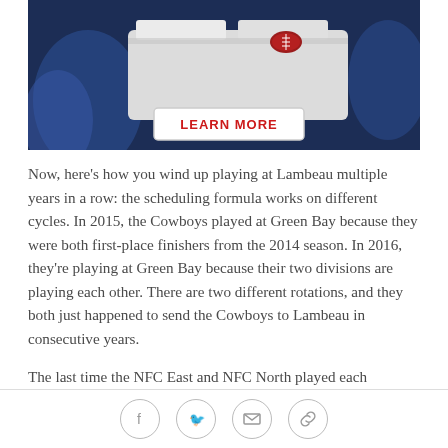[Figure (photo): Advertisement image showing a football on a white surface/furniture piece with a dark blue background. Contains a 'LEARN MORE' button.]
Now, here's how you wind up playing at Lambeau multiple years in a row: the scheduling formula works on different cycles. In 2015, the Cowboys played at Green Bay because they were both first-place finishers from the 2014 season. In 2016, they're playing at Green Bay because their two divisions are playing each other. There are two different rotations, and they both just happened to send the Cowboys to Lambeau in consecutive years.
The last time the NFC East and NFC North played each
Social sharing icons: Facebook, Twitter, Email, Link